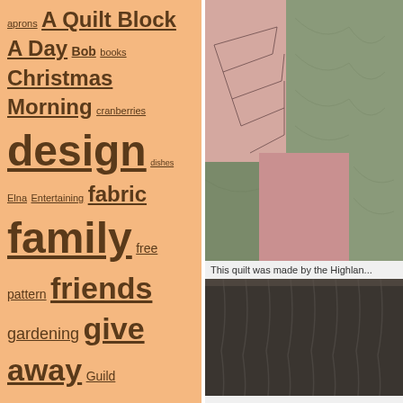aprons A Quilt Block A Day Bob books Christmas Morning cranberries design dishes Elna Entertaining fabric family free pattern friends gardening give away Guild holiday Long Beach machine quilting Montana National Parks Nine-Patch Project Nåsdräkten orange Organizing Quilt Market quilt shop quilt shows recipes Redwork Retreat Seven Kinds Of Cookies signs
[Figure (photo): Close-up photo of a quilt with pink/rose and sage green fabric patches, featuring hand-drawn or stitched geometric star or arrow shapes on the pink sections]
This quilt was made by the Highlan...
[Figure (photo): Photo of dark brown/charcoal draped fabric or curtain]